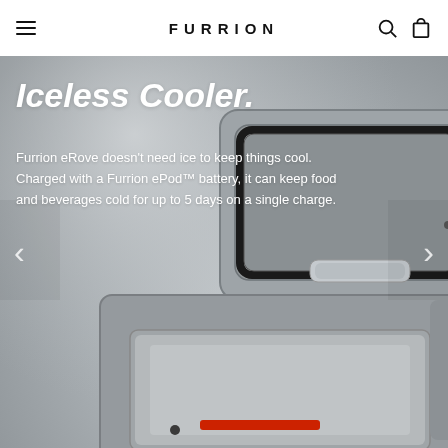FURRION
Iceless Cooler.
Furrion eRove doesn't need ice to keep things cool. Charged with a Furrion ePod™ battery, it can keep food and beverages cold for up to 5 days on a single charge.
[Figure (photo): Close-up product photo of a Furrion eRove iceless cooler showing the open lid and interior compartment on a grey gradient background]